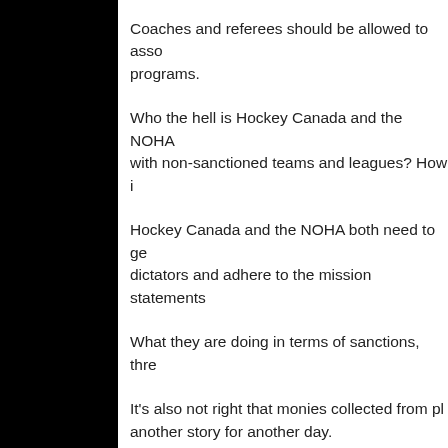Coaches and referees should be allowed to associate with programs.
Who the hell is Hockey Canada and the NOHA to say coaches cannot associate with non-sanctioned teams and leagues? How is...
Hockey Canada and the NOHA both need to get off their thrones as dictators and adhere to the mission statements...
What they are doing in terms of sanctions, thre...
It's also not right that monies collected from pla... another story for another day.
Just my two cents worth, like it or not.